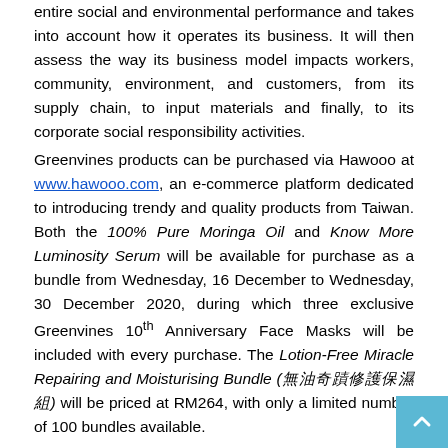entire social and environmental performance and takes into account how it operates its business. It will then assess the way its business model impacts workers, community, environment, and customers, from its supply chain, to input materials and finally, to its corporate social responsibility activities.
Greenvines products can be purchased via Hawooo at www.hawooo.com, an e-commerce platform dedicated to introducing trendy and quality products from Taiwan. Both the 100% Pure Moringa Oil and Know More Luminosity Serum will be available for purchase as a bundle from Wednesday, 16 December to Wednesday, 30 December 2020, during which three exclusive Greenvines 10th Anniversary Face Masks will be included with every purchase. The Lotion-Free Miracle Repairing and Moisturising Bundle (無油奇蹟修護保濕組) will be priced at RM264, with only a limited number of 100 bundles available.